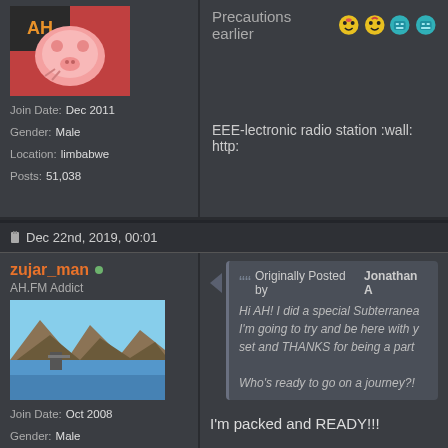[Figure (photo): Cartoon pig avatar image (pink pig character)]
Join Date: Dec 2011
Gender: Male
Location: limbabwe
Posts: 51,038
Precautions earlier [emoji icons]
EEE-lectronic radio station :wall: http:
Dec 22nd, 2019, 00:01
zujar_man
AH.FM Addict
[Figure (photo): Landscape photo of lake/reservoir with mountains and bridge]
Join Date: Oct 2008
Gender: Male
Location: Zujar, Spain
Posts: 6,119
Originally Posted by Jonathan A
Hi AH! I did a special Subterranea... I'm going to try and be here with y... set and THANKS for being a part...
Who's ready to go on a journey?!
I'm packed and READY!!!